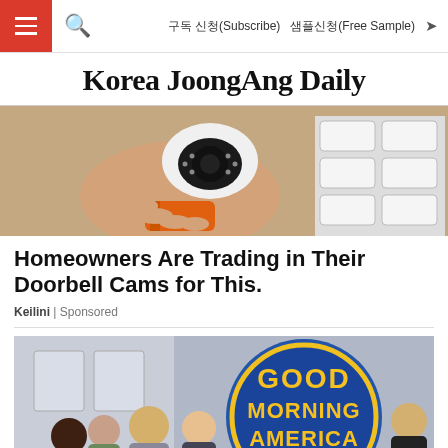Korea JoongAng Daily — 구독 신청(Subscribe)  샘플신청(Free Sample)
Korea JoongAng Daily
[Figure (photo): A hand holding a small dome security camera with an orange tool/device in the background, and rows of white security camera units on the right.]
Homeowners Are Trading in Their Doorbell Cams for This.
Keilini | Sponsored
[Figure (photo): Group of women gathered in front of a large blue circular 'Good Morning America' logo sign.]